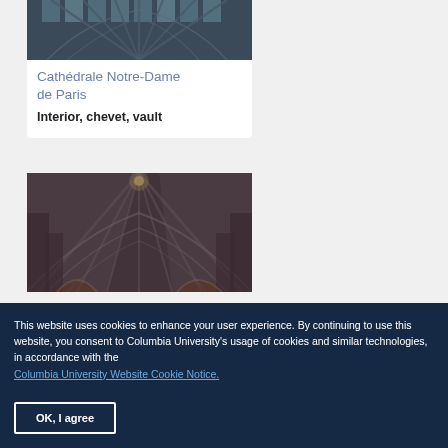[Figure (photo): Cathedral interior showing gothic vaulted ceiling with stained glass windows viewed from below]
Cathédrale Notre-Dame de Paris
Interior, chevet, vault
[Figure (photo): Cathedral interior showing gothic nave with ribbed vaulting and arches receding into the distance]
This website uses cookies to enhance your user experience. By continuing to use this website, you consent to Columbia University's usage of cookies and similar technologies, in accordance with the Columbia University Website Cookie Notice.
OK, I agree